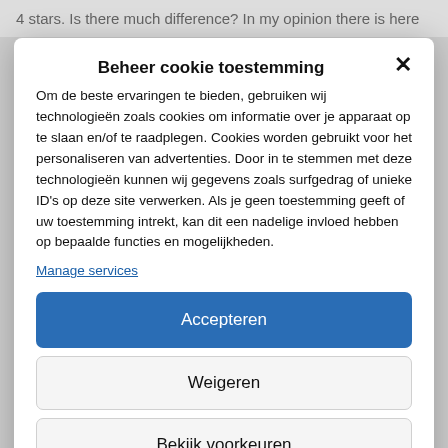4 stars. Is there much difference? In my opinion there is here
Beheer cookie toestemming
Om de beste ervaringen te bieden, gebruiken wij technologieën zoals cookies om informatie over je apparaat op te slaan en/of te raadplegen. Cookies worden gebruikt voor het personaliseren van advertenties. Door in te stemmen met deze technologieën kunnen wij gegevens zoals surfgedrag of unieke ID's op deze site verwerken. Als je geen toestemming geeft of uw toestemming intrekt, kan dit een nadelige invloed hebben op bepaalde functies en mogelijkheden.
Manage services
Accepteren
Weigeren
Bekijk voorkeuren
Cookiebeleid